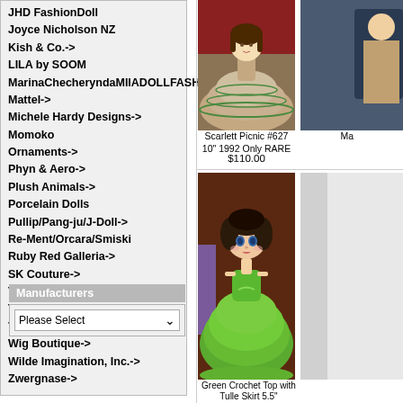JHD FashionDoll
Joyce Nicholson NZ
Kish & Co.->
LILA by SOOM
MarinaChecheryndaMIIADOLLFASHION
Mattel->
Michele Hardy Designs->
Momoko
Ornaments->
Phyn & Aero->
Plush Animals->
Porcelain Dolls
Pullip/Pang-ju/J-Doll->
Re-Ment/Orcara/Smiski
Ruby Red Galleria->
SK Couture->
Tonner Doll Co.->
Toys & Other Collectibles->
Vintage Dolls &/Jewelry->
Wig Boutique->
Wilde Imagination, Inc.->
Zwergnase->
Manufacturers
[Figure (photo): Scarlett Picnic doll in tan ballgown with green trim]
Scarlett Picnic #627 10" 1992 Only RARE
$110.00
[Figure (photo): Green Crochet Top with Tulle Skirt doll, 5.5 inch]
Green Crochet Top with Tulle Skirt 5.5"
$25.00
[Figure (photo): Partial view of another doll on the right edge]